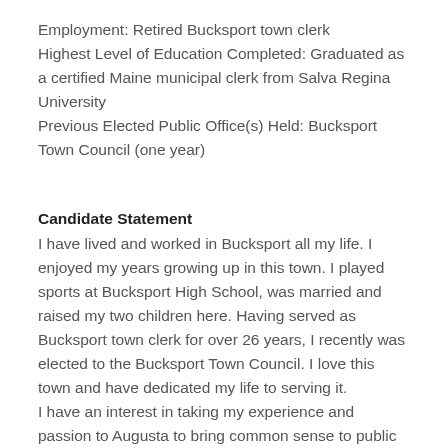Employment: Retired Bucksport town clerk Highest Level of Education Completed: Graduated as a certified Maine municipal clerk from Salva Regina University Previous Elected Public Office(s) Held: Bucksport Town Council (one year)
Candidate Statement
I have lived and worked in Bucksport all my life. I enjoyed my years growing up in this town. I played sports at Bucksport High School, was married and raised my two children here. Having served as Bucksport town clerk for over 26 years, I recently was elected to the Bucksport Town Council. I love this town and have dedicated my life to serving it.
I have an interest in taking my experience and passion to Augusta to bring common sense to public policy on behalf of the citizens of Bucksport and Orrington.